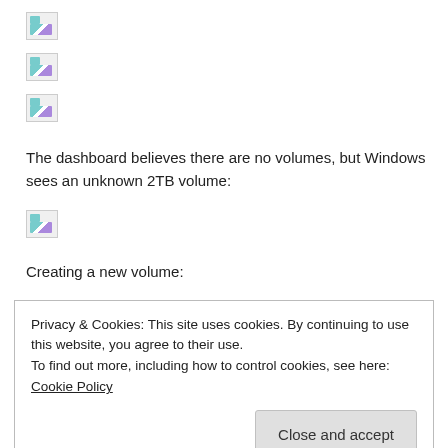[Figure (screenshot): Broken image placeholder 1]
[Figure (screenshot): Broken image placeholder 2]
[Figure (screenshot): Broken image placeholder 3]
The dashboard believes there are no volumes, but Windows sees an unknown 2TB volume:
[Figure (screenshot): Broken image placeholder 4]
Creating a new volume:
Privacy & Cookies: This site uses cookies. By continuing to use this website, you agree to their use.
To find out more, including how to control cookies, see here: Cookie Policy
Close and accept
As the dashboard software starts creating the volume